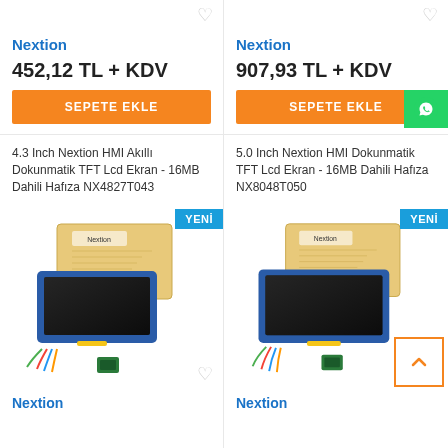Nextion
452,12 TL + KDV
SEPETE EKLE
Nextion
907,93 TL + KDV
SEPETE EKLE
4.3 Inch Nextion HMI Akıllı Dokunmatik TFT Lcd Ekran - 16MB Dahili Hafıza NX4827T043
[Figure (photo): Nextion 4.3 inch HMI TFT LCD display product photo with box, screen showing dark display, cables, and small module]
YENI
Nextion
5.0 Inch Nextion HMI Dokunmatik TFT Lcd Ekran - 16MB Dahili Hafıza NX8048T050
[Figure (photo): Nextion 5.0 inch HMI TFT LCD display product photo with box, screen showing dark display, cables, and small module]
YENI
Nextion